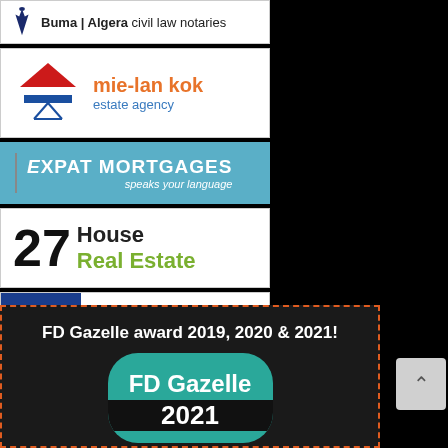[Figure (logo): Buma | Algera civil law notaries logo with pen nib icon]
[Figure (logo): mie-lan kok estate agency logo with Dutch flag house graphic]
[Figure (logo): Expat Mortgages speaks your language logo on teal background]
[Figure (logo): 27 House Real Estate logo]
[Figure (logo): Belastingdienst (Dutch tax authority) logo with coat of arms]
FD Gazelle award 2019, 2020 & 2021!
[Figure (logo): FD Gazelle 2021 award badge in teal with year 2021]